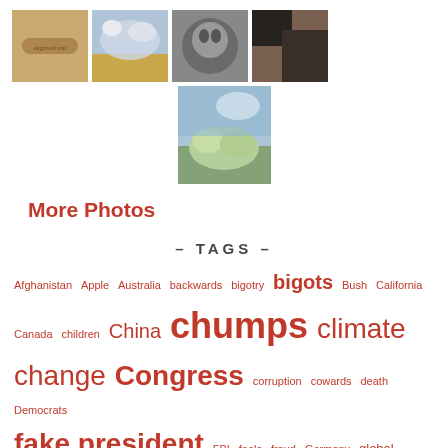[Figure (photo): Four small thumbnail photos in a row: engraved wood/guitar, sky with clouds, dog close-up, black and white animal]
[Figure (photo): One medium thumbnail photo centered: flowers/blossoms against sky]
More Photos
– TAGS –
Afghanistan  Apple  Australia  backwards  bigotry  bigots  Bush  California  Canada  children  China  chumps  climate change  Congress  corruption  cowards  death  Democrats  fake president  FBI  fools  fraud  Germany  global warming  Google  hypocrites  ignoranus  India  Israel  Japan  lies  Mexico